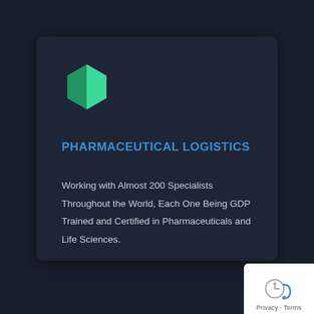[Figure (logo): Green hexagon logo mark with overlapping facets]
PHARMACEUTICAL LOGISTICS
Working with Almost 200 Specialists Throughout the World, Each One Being GDP Trained and Certified in Pharmaceuticals and Life Sciences.